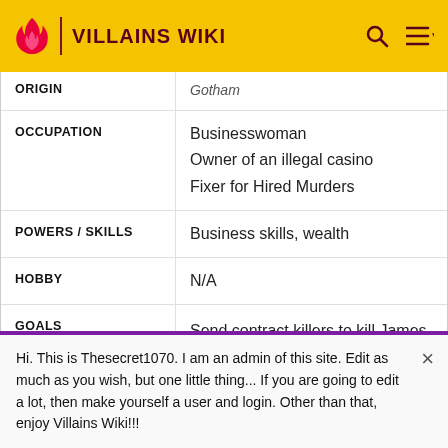VILLAINS WIKI
| Field | Value |
| --- | --- |
| ORIGIN | Gotham |
| OCCUPATION | Businesswoman
Owner of an illegal casino
Fixer for Hired Murders |
| POWERS / SKILLS | Business skills, wealth |
| HOBBY | N/A |
| GOALS | Send contract killers to kill James Gordon. |
Hi. This is Thesecret1070. I am an admin of this site. Edit as much as you wish, but one little thing... If you are going to edit a lot, then make yourself a user and login. Other than that, enjoy Villains Wiki!!!